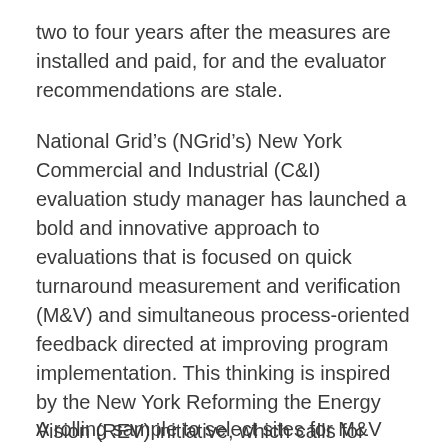two to four years after the measures are installed and paid, for and the evaluator recommendations are stale.
National Grid's (NGrid's) New York Commercial and Industrial (C&I) evaluation study manager has launched a bold and innovative approach to evaluations that is focused on quick turnaround measurement and verification (M&V) and simultaneous process-oriented feedback directed at improving program implementation. This thinking is inspired by the New York Reforming the Energy Vision (REV) initiative, which calls for evaluations that are “designed and implemented to yield timely information that [feeds into] the annual iterations of utility programs.” This approach incorporates these features:
A rolling sample to select sites for M&V